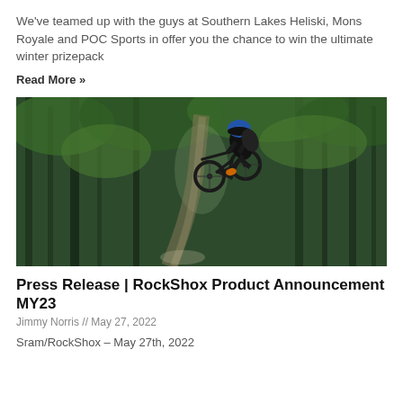We've teamed up with the guys at Southern Lakes Heliski, Mons Royale and POC Sports in offer you the chance to win the ultimate winter prizepack
Read More »
[Figure (photo): Mountain biker performing a jump on a dirt trail in a dense green forest, airborne with the bike.]
Press Release | RockShox Product Announcement MY23
Jimmy Norris // May 27, 2022
Sram/RockShox – May 27th, 2022